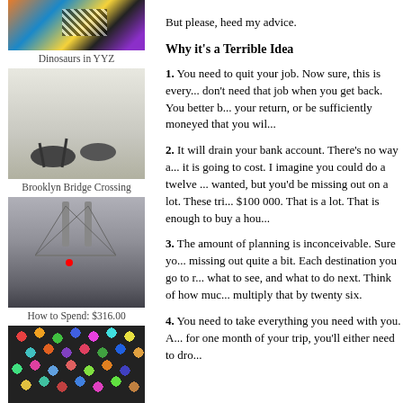[Figure (photo): Colorful mural with fish, checkerboard pattern, orange and blue colors]
Dinosaurs in YYZ
[Figure (photo): Dinosaur sculptures in what appears to be an airport or large indoor space]
Brooklyn Bridge Crossing
[Figure (photo): Brooklyn Bridge in foggy/rainy weather with a person holding a red umbrella]
How to Spend: $316.00
[Figure (photo): Colorful plastic balls in many colors including red, orange, green, blue, purple, yellow]
But please, heed my advice.
Why it's a Terrible Idea
1. You need to quit your job. Now sure, this is every... don't need that job when you get back. You better b... your return, or be sufficiently moneyed that you wil...
2. It will drain your bank account. There's no way a... it is going to cost. I imagine you could do a twelve ... wanted, but you'd be missing out on a lot. These tri... $100 000. That is a lot. That is enough to buy a hou...
3. The amount of planning is inconceivable. Sure yo... missing out quite a bit. Each destination you go to r... what to see, and what to do next. Think of how muc... multiply that by twenty six.
4. You need to take everything you need with you. A... for one month of your trip, you'll either need to dro...